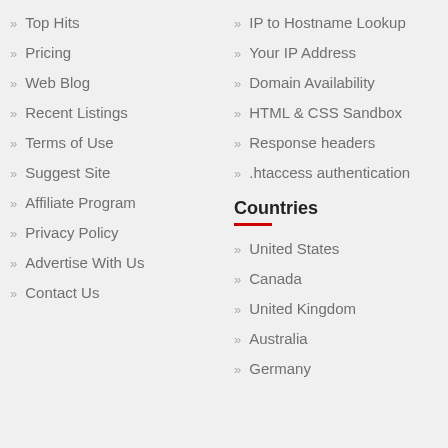Top Hits
Pricing
Web Blog
Recent Listings
Terms of Use
Suggest Site
Affiliate Program
Privacy Policy
Advertise With Us
Contact Us
IP to Hostname Lookup
Your IP Address
Domain Availability
HTML & CSS Sandbox
Response headers
.htaccess authentication
Countries
United States
Canada
United Kingdom
Australia
Germany